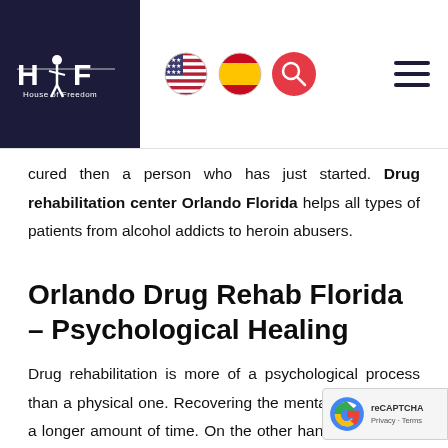[Figure (logo): House of Freedom logo — dark navy box with stylized HOF text and person silhouette, subtitle 'House of Freedom']
Navigation bar with US flag, Spain flag, red search button, and hamburger menu
cured then a person who has just started. Drug rehabilitation center Orlando Florida helps all types of patients from alcohol addicts to heroin abusers.
Orlando Drug Rehab Florida – Psychological Healing
Drug rehabilitation is more of a psychological process than a physical one. Recovering the mental health takes a longer amount of time. On the other hand the physical effects of drug abuse can be simply cured through...